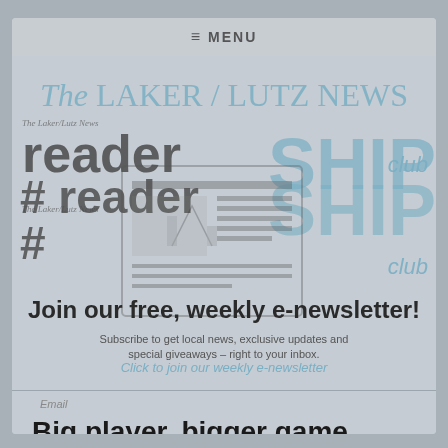≡ MENU
[Figure (logo): The Laker / Lutz News readerSHIP club newsletter signup overlay with newspaper illustration watermark, hash symbols, and repeated branding text]
Join our free, weekly e-newsletter!
Subscribe to get local news, exclusive updates and special giveaways – right to your inbox.
Click to join our weekly e-newsletter
Email
Big player, bigger game